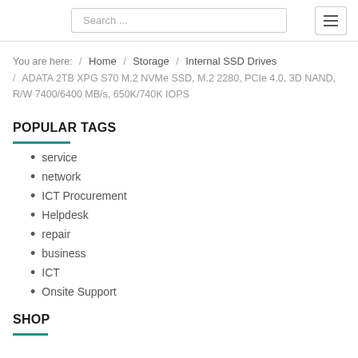Search ...
You are here: / Home / Storage / Internal SSD Drives / ADATA 2TB XPG S70 M.2 NVMe SSD, M.2 2280, PCIe 4.0, 3D NAND, R/W 7400/6400 MB/s, 650K/740K IOPS
POPULAR TAGS
service
network
ICT Procurement
Helpdesk
repair
business
ICT
Onsite Support
SHOP